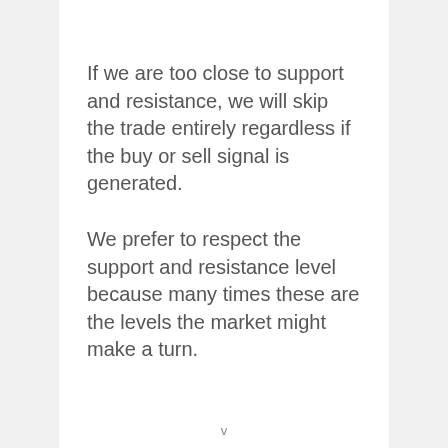If we are too close to support and resistance, we will skip the trade entirely regardless if the buy or sell signal is generated.
We prefer to respect the support and resistance level because many times these are the levels the market might make a turn.
v